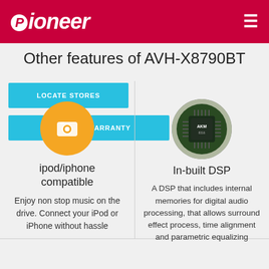Pioneer — Other features of AVH-X8790BT
Other features of AVH-X8790BT
LOCATE STORES
REGISTER WARRANTY
[Figure (illustration): iPod/iPhone orange circular icon with camera/music symbol]
ipod/iphone compatible
Enjoy non stop music on the drive. Connect your iPod or iPhone without hassle
[Figure (photo): Circular photo of a green circuit board chip (AKM chip)]
In-built DSP
A DSP that includes internal memories for digital audio processing, that allows surround effect process, time alignment and parametric equalizing